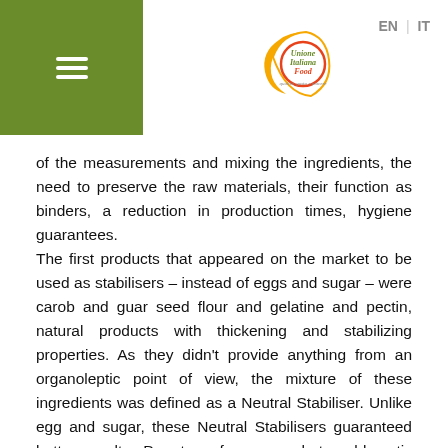Unione Italiana Food | EN | IT
of the measurements and mixing the ingredients, the need to preserve the raw materials, their function as binders, a reduction in production times, hygiene guarantees. The first products that appeared on the market to be used as stabilisers – instead of eggs and sugar – were carob and guar seed flour and gelatine and pectin, natural products with thickening and stabilizing properties. As they didn't provide anything from an organoleptic point of view, the mixture of these ingredients was defined as a Neutral Stabiliser. Unlike egg and sugar, these Neutral Stabilisers guaranteed better results. Due to a few somewhat problematic aspects of using Neutral Stabilisers (the need for correct and extremely precise measurements), Bases were introduced, which made it easier to measure out the Neutral Stabilisers and other necessary ingredients. The first Bases contained a mixture of stabilisers and emulsifiers, as well as other functional ingredients to ensure a well-balanced final product. Today there is a wide and diversified range of bases, and this allows artisan ice